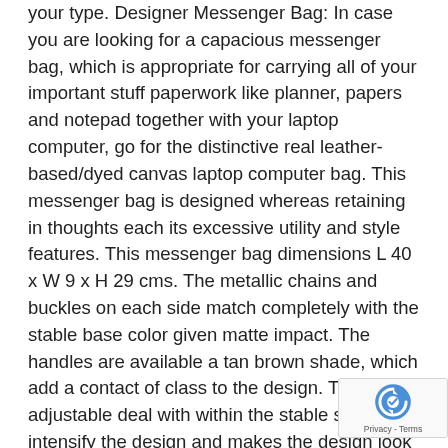your type. Designer Messenger Bag: In case you are looking for a capacious messenger bag, which is appropriate for carrying all of your important stuff paperwork like planner, papers and notepad together with your laptop computer, go for the distinctive real leather-based/dyed canvas laptop computer bag. This messenger bag is designed whereas retaining in thoughts each its excessive utility and style features. This messenger bag dimensions L 40 x W 9 x H 29 cms. The metallic chains and buckles on each side match completely with the stable base color given matte impact. The handles are available a tan brown shade, which add a contact of class to the design. There's an adjustable deal with within the stable shade intensify the design and makes the design look full. Obtainable in different shades like olive inexperienced, black, brown and blue, this bag makes a really perfect selection in your each day use. Premium High quality Laptop computer Bag: The canvas messenger laptop computer bag is crafted with superior high quality canvas material which is dyed and processed. The brief deal with of this bag fabricated from real leather-based. It has gentle mesh inside you to use it in final consolation. Furthermore, there's a separate
[Figure (other): reCAPTCHA badge with logo and Privacy - Terms text]